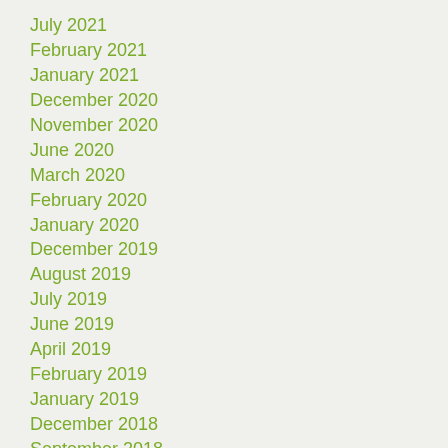July 2021
February 2021
January 2021
December 2020
November 2020
June 2020
March 2020
February 2020
January 2020
December 2019
August 2019
July 2019
June 2019
April 2019
February 2019
January 2019
December 2018
September 2018
August 2018
May 2018